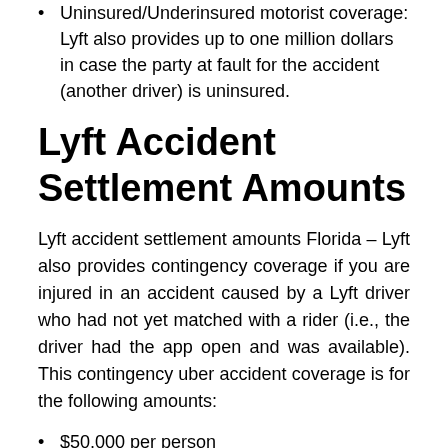Uninsured/Underinsured motorist coverage: Lyft also provides up to one million dollars in case the party at fault for the accident (another driver) is uninsured.
Lyft Accident Settlement Amounts
Lyft accident settlement amounts Florida – Lyft also provides contingency coverage if you are injured in an accident caused by a Lyft driver who had not yet matched with a rider (i.e., the driver had the app open and was available). This contingency uber accident coverage is for the following amounts:
$50,000 per person
$100,000 per accident